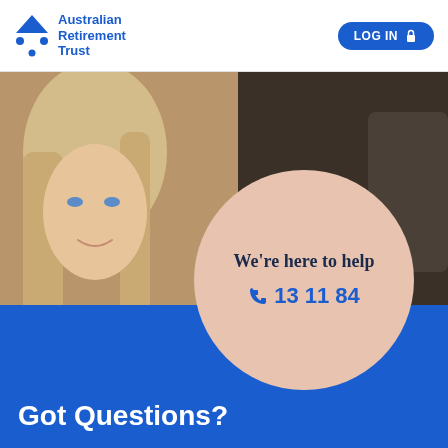Australian Retirement Trust | LOG IN
[Figure (photo): Blonde woman smiling, photographed in an indoor setting with warm lighting. Large peach-colored circle overlay in center-right with text 'We're here to help' and phone number '13 11 84'.]
We're here to help
13 11 84
Got Questions?